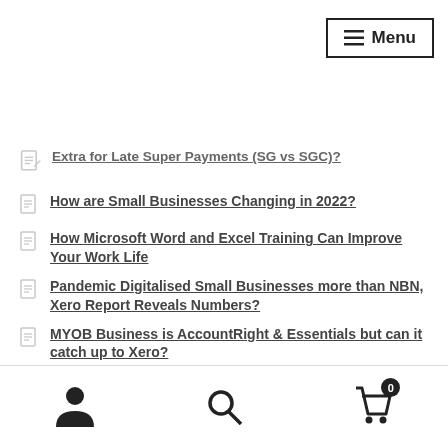Menu
Extra for Late Super Payments (SG vs SGC)?
How are Small Businesses Changing in 2022?
How Microsoft Word and Excel Training Can Improve Your Work Life
Pandemic Digitalised Small Businesses more than NBN, Xero Report Reveals Numbers?
MYOB Business is AccountRight & Essentials but can it catch up to Xero?
Our Students Have Been Talking – Here's What They Have to Say
NEW Advanced Certificate In Payroll Administration Includes